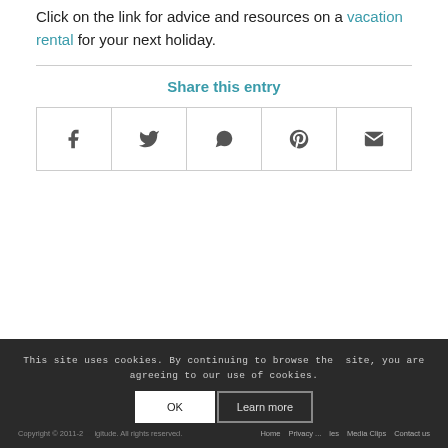Click on the link for advice and resources on a vacation rental for your next holiday.
Share this entry
[Figure (other): Row of five social share icon buttons: Facebook, Twitter, WhatsApp, Pinterest, Email]
This site uses cookies. By continuing to browse the site, you are agreeing to our use of cookies.
Copyright © 2011-2... igitude. All rights reserved. Home  Privacy ...  les  Media Clips  Contact us